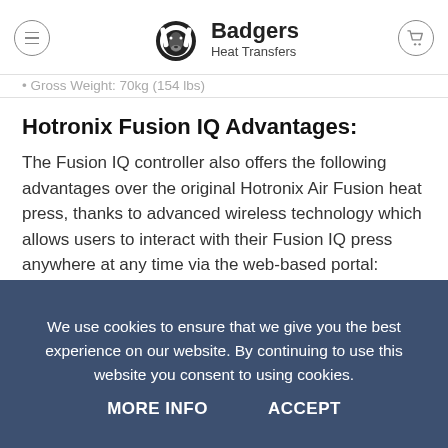Badgers Heat Transfers
Gross Weight: 70kg (154 lbs)
Hotronix Fusion IQ Advantages:
The Fusion IQ controller also offers the following advantages over the original Hotronix Air Fusion heat press, thanks to advanced wireless technology which allows users to interact with their Fusion IQ press anywhere at any time via the web-based portal:
Track heat press usage: Users can ensure they are getting the value for money from their heat press by tracking how many times their heat press is...
We use cookies to ensure that we give you the best experience on our website. By continuing to use this website you consent to using cookies.